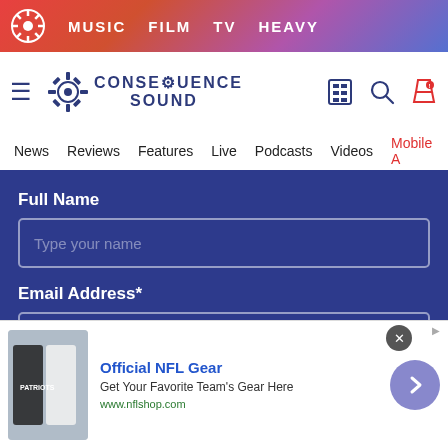MUSIC  FILM  TV  HEAVY
[Figure (logo): Consequence Sound logo with gear icon and site name]
News  Reviews  Features  Live  Podcasts  Videos  Mobile A
Full Name
Type your name
Email Address*
Type your email
Subscribe
[Figure (photo): NFL jersey advertisement showing team apparel with text: Official NFL Gear, Get Your Favorite Team's Gear Here, www.nflshop.com]